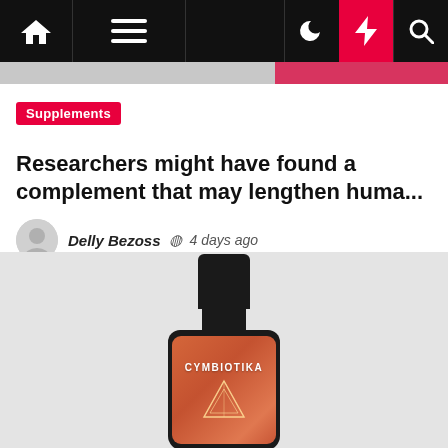Navigation bar with home, menu, dark mode, flash, and search icons
Supplements
Researchers might have found a complement that may lengthen huma...
Delly Bezoss  4 days ago
[Figure (photo): A dark glass bottle with a black cap labeled CYMBIOTIKA with an orange/salmon colored label featuring a triangle/diamond geometry design, placed on a light gray background.]